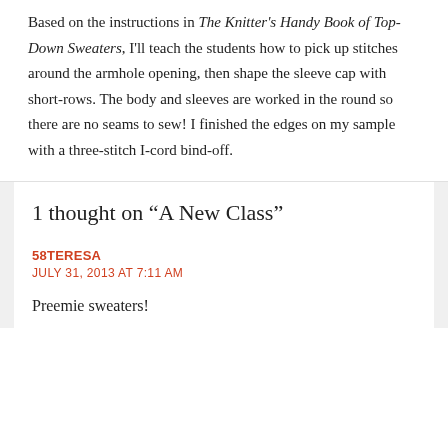Based on the instructions in The Knitter's Handy Book of Top-Down Sweaters, I'll teach the students how to pick up stitches around the armhole opening, then shape the sleeve cap with short-rows. The body and sleeves are worked in the round so there are no seams to sew! I finished the edges on my sample with a three-stitch I-cord bind-off.
1 thought on “A New Class”
58TERESA
JULY 31, 2013 AT 7:11 AM
Preemie sweaters!